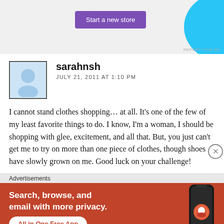[Figure (other): Top advertisement banner with 'Start a new store' purple button and blue decorative shape on the right]
sarahnsh
JULY 21, 2011 AT 1:10 PM
I cannot stand clothes shopping... at all. It's one of the few of my least favorite things to do. I know, I'm a woman, I should be shopping with glee, excitement, and all that. But, you just can't get me to try on more than one piece of clothes, though shoes have slowly grown on me. Good luck on your challenge!
Advertisements
[Figure (other): DuckDuckGo advertisement: orange/red background, text 'Search, browse, and email with more privacy. All in One Free App', phone image with DuckDuckGo logo]